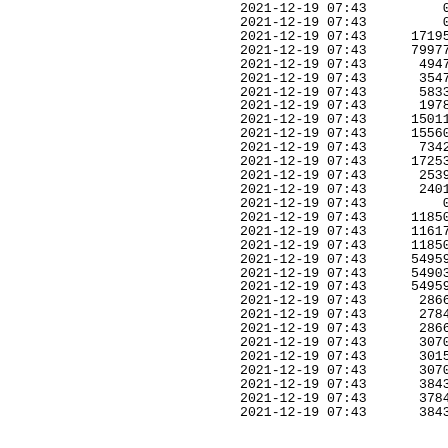| datetime | value |
| --- | --- |
| 2021-12-19 07:43 | 0 |
| 2021-12-19 07:43 | 0 |
| 2021-12-19 07:43 | 17195 |
| 2021-12-19 07:43 | 79977 |
| 2021-12-19 07:43 | 4947 |
| 2021-12-19 07:43 | 3547 |
| 2021-12-19 07:43 | 5833 |
| 2021-12-19 07:43 | 1978 |
| 2021-12-19 07:43 | 15011 |
| 2021-12-19 07:43 | 15560 |
| 2021-12-19 07:43 | 7342 |
| 2021-12-19 07:43 | 17253 |
| 2021-12-19 07:43 | 2539 |
| 2021-12-19 07:43 | 2401 |
| 2021-12-19 07:43 | 0 |
| 2021-12-19 07:43 | 11850 |
| 2021-12-19 07:43 | 11617 |
| 2021-12-19 07:43 | 11850 |
| 2021-12-19 07:43 | 54959 |
| 2021-12-19 07:43 | 54903 |
| 2021-12-19 07:43 | 54959 |
| 2021-12-19 07:43 | 2866 |
| 2021-12-19 07:43 | 2784 |
| 2021-12-19 07:43 | 2866 |
| 2021-12-19 07:43 | 3070 |
| 2021-12-19 07:43 | 3015 |
| 2021-12-19 07:43 | 3070 |
| 2021-12-19 07:43 | 3843 |
| 2021-12-19 07:43 | 3784 |
| 2021-12-19 07:43 | 3843 |